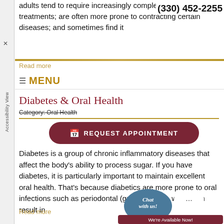adults tend to require increasingly complex dental treatments; are often more prone to contracting certain diseases; and sometimes find it
(330) 452-2255
Read more
MENU
Diabetes & Oral Health
Category: Oral Health
REQUEST APPOINTMENT
Diabetes is a group of chronic inflammatory diseases that affect the body's ability to process sugar. If you have diabetes, it is particularly important to maintain excellent oral health. That's because diabetics are more prone to oral infections such as periodontal (gum) disease, which can result in
Read more
Chat with us! We're Available Now!